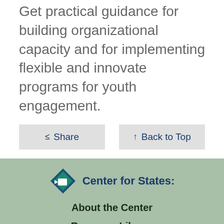Get practical guidance for building organizational capacity and for implementing flexible and innovate programs for youth engagement.
Share
Back to Top
Center for States:
About the Center
Resource Library
Topics
Events
Peer Groups